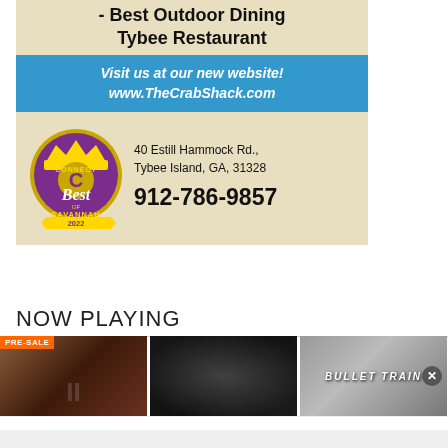[Figure (infographic): Crab Shack advertisement with tan background showing Best Outdoor Dining award for Tybee Restaurant, blue bar with website URL, Connect Best of Savannah 2022 badge, address and phone number]
NOW PLAYING
[Figure (photo): Pre-sale movie thumbnail with orange PRE-SALE badge, dark brownish-red background]
[Figure (photo): Dark moody movie thumbnail]
[Figure (photo): Bullet Train movie poster thumbnail with stylized text on gray background]